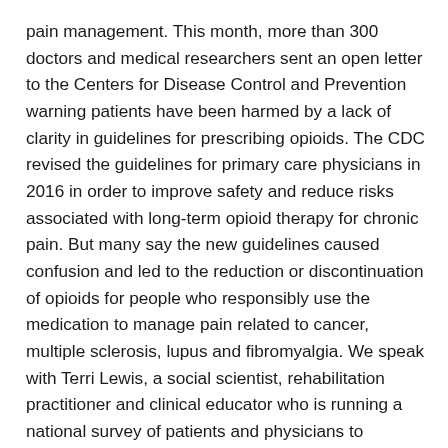pain management. This month, more than 300 doctors and medical researchers sent an open letter to the Centers for Disease Control and Prevention warning patients have been harmed by a lack of clarity in guidelines for prescribing opioids. The CDC revised the guidelines for primary care physicians in 2016 in order to improve safety and reduce risks associated with long-term opioid therapy for chronic pain. But many say the new guidelines caused confusion and led to the reduction or discontinuation of opioids for people who responsibly use the medication to manage pain related to cancer, multiple sclerosis, lupus and fibromyalgia. We speak with Terri Lewis, a social scientist, rehabilitation practitioner and clinical educator who is running a national survey of patients and physicians to calculate the impacts of changes in chronic pain treatment. We also speak with Barry Meier, the author of “Pain Killer: An Empire of Deceit and the Origin of America's Opioid Epidemic.” He was the first journalist to shine a national spotlight on the abuse of